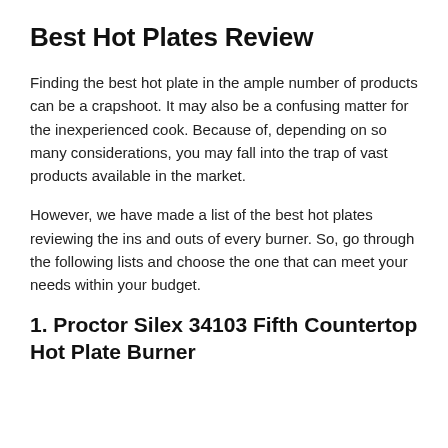Best Hot Plates Review
Finding the best hot plate in the ample number of products can be a crapshoot. It may also be a confusing matter for the inexperienced cook. Because of, depending on so many considerations, you may fall into the trap of vast products available in the market.
However, we have made a list of the best hot plates reviewing the ins and outs of every burner. So, go through the following lists and choose the one that can meet your needs within your budget.
1. Proctor Silex 34103 Fifth Countertop Hot Plate Burner